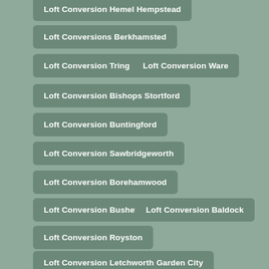Loft Conversion Hemel Hempstead
Loft Conversions Berkhamsted
Loft Conversion Tring
Loft Conversion Ware
Loft Conversion Bishops Stortford
Loft Conversion Buntingford
Loft Conversion Sawbridgeworth
Loft Conversion Borehamwood
Loft Conversion Bushey
Loft Conversion Baldock
Loft Conversion Royston
Loft Conversion Letchworth Garden City
Loft Conversion Harpenden